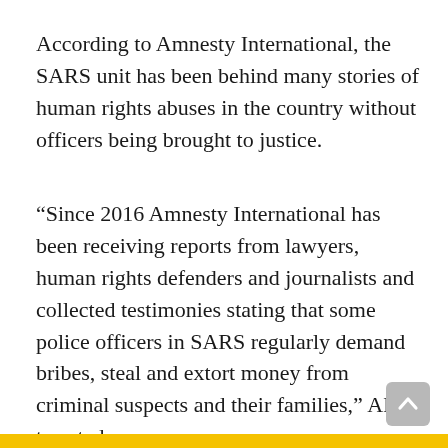According to Amnesty International, the SARS unit has been behind many stories of human rights abuses in the country without officers being brought to justice.
“Since 2016 Amnesty International has been receiving reports from lawyers, human rights defenders and journalists and collected testimonies stating that some police officers in SARS regularly demand bribes, steal and extort money from criminal suspects and their families,” AI tweeted.
It added that its research “exposed the callous workings of a police squad operating outside of the law and inflicting daily brutality on Nigerians who are often legally powerless to defend themselves against criminal accusations, let alone